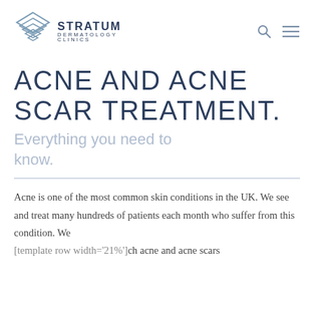STRATUM DERMATOLOGY CLINICS
ACNE AND ACNE SCAR TREATMENT.
Everything you need to know.
Acne is one of the most common skin conditions in the UK. We see and treat many hundreds of patients each month who suffer from this condition. We [template row width='21%'] much acne and acne scars